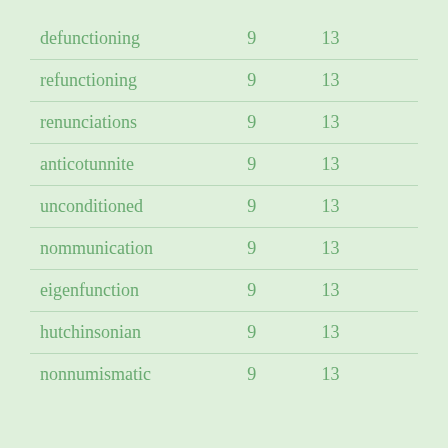| defunctioning | 9 | 13 |
| refunctioning | 9 | 13 |
| renunciations | 9 | 13 |
| anticotunnite | 9 | 13 |
| unconditioned | 9 | 13 |
| nommunication | 9 | 13 |
| eigenfunction | 9 | 13 |
| hutchinsonian | 9 | 13 |
| nonnumismatic | 9 | 13 |